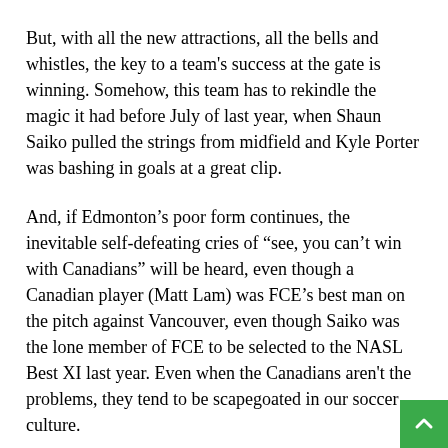But, with all the new attractions, all the bells and whistles, the key to a team's success at the gate is winning. Somehow, this team has to rekindle the magic it had before July of last year, when Shaun Saiko pulled the strings from midfield and Kyle Porter was bashing in goals at a great clip.
And, if Edmonton's poor form continues, the inevitable self-defeating cries of “see, you can’t win with Canadians” will be heard, even though a Canadian player (Matt Lam) was FCE’s best man on the pitch against Vancouver, even though Saiko was the lone member of FCE to be selected to the NASL Best XI last year. Even when the Canadians aren't the problems, they tend to be scapegoated in our soccer culture.
Because of that dream start in 2011, FCE has gone through its first one year and a bit of playing games that matter with little